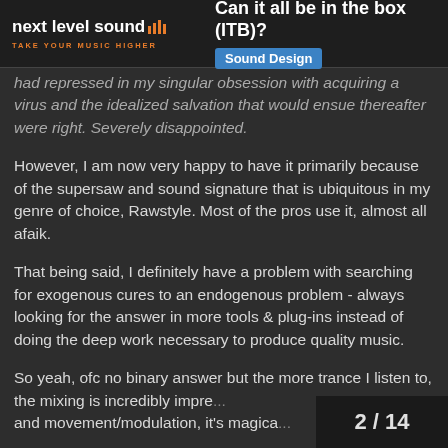next level sound | TAKE YOUR MUSIC HIGHER | Can it all be in the box (ITB)? | Sound Design
had repressed in my singular obsession with acquiring a virus and the idealized salvation that would ensue thereafter were right. Severely disappointed.
However, I am now very happy to have it primarily because of the supersaw and sound signature that is ubiquitous in my genre of choice, Rawstyle. Most of the pros use it, almost all afaik.
That being said, I definitely have a problem with searching for exogenous cures to an endogenous problem - always looking for the answer in more tools & plug-ins instead of doing the deep work necessary to produce quality music.
So yeah, ofc no binary answer but the more trance I listen to, the mixing is incredibly impre... and movement/modulation, it's magica...
2 / 14